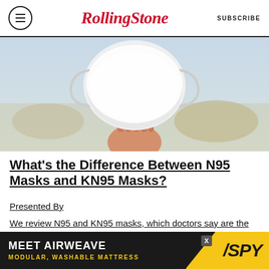RollingStone — SUBSCRIBE
[Figure (photo): A hand holding a white KN95/N95 face mask against a blurred outdoor background]
What's the Difference Between N95 Masks and KN95 Masks?
Presented By
We review N95 and KN95 masks, which doctors say are the best face masks for Covid. But which is better? And where can
[Figure (other): Advertisement bar: MEET AIRWEAVE / MODULAR, WASHABLE MATTRESS with SPY logo]